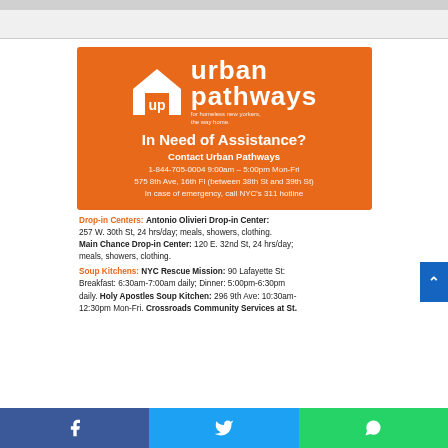[Figure (logo): Urban Pathways orange card with house logo, 'up urban pathways for homeless new yorkers, the way home.' and contact info: In Need of Assistance? Contact Urban Pathways 1-844-705-0004 9:00am – 5:00pm Mon-Fri, 575 8th Ave, 16th Fl (between 38th St and 39th St), In case of emergency, call NYC's 311 hotline]
Drop-in Centers: Antonio Olivieri Drop-in Center: 257 W. 30th St, 24 hrs/day; meals, showers, clothing. Main Chance Drop-in Center: 120 E. 32nd St, 24 hrs/day; meals, showers, clothing.
Soup Kitchens: NYC Rescue Mission: 90 Lafayette St: Breakfast: 6:30am-7:00am daily; Dinner: 5:00pm-6:30pm daily. Holy Apostles Soup Kitchen: 296 9th Ave: 10:30am-12:30pm Mon-Fri. Crossroads Community Services at St.